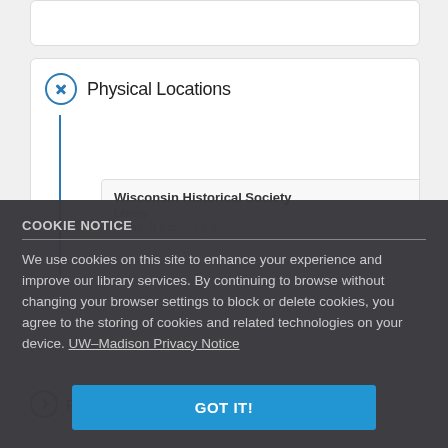Physical Locations
Wisconsin Historical Society Library
Hours: 9 a.m. – 7 p.m.
COOKIE NOTICE
We use cookies on this site to enhance your experience and improve our library services. By continuing to browse without changing your browser settings to block or delete cookies, you agree to the storing of cookies and related technologies on your device. UW–Madison Privacy Notice
GOT IT!
Publications